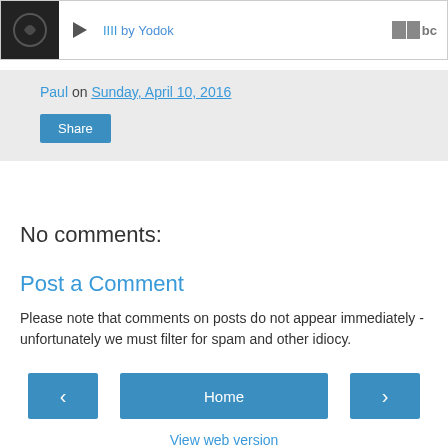[Figure (other): Music player bar showing album art thumbnail, play button, track tally marks 'IIII by Yodok', and Bandcamp logo]
Paul on Sunday, April 10, 2016
Share
No comments:
Post a Comment
Please note that comments on posts do not appear immediately - unfortunately we must filter for spam and other idiocy.
‹
Home
›
View web version
Powered by Blogger.